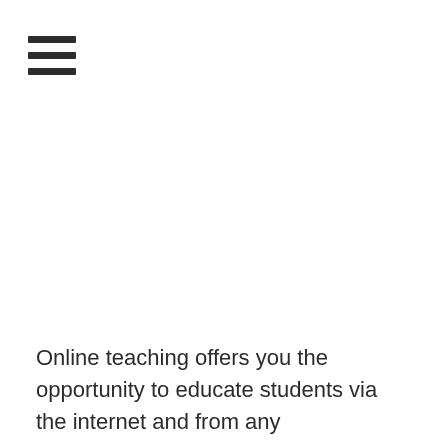[Figure (other): Hamburger menu icon with three horizontal parallel bars]
Online teaching offers you the opportunity to educate students via the internet and from any